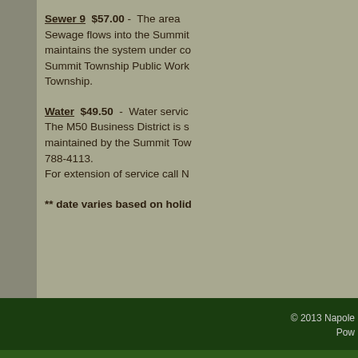Sewer 9  $57.00 -  The area Sewage flows into the Summit maintains the system under co Summit Township Public Work Township.
Water  $49.50  -  Water servic The M50 Business District is s maintained by the Summit Tow 788-4113. For extension of service call N
** date varies based on holid
© 2013 Napole Pow